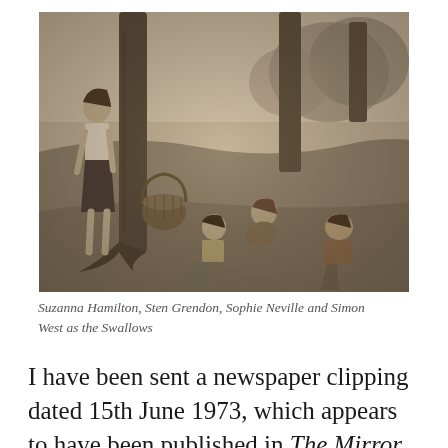[Figure (photo): Black and white photograph of four children outdoors among trees. A girl in a white top and dark skirt stands on the left holding a basket next to a tree trunk. Three other children kneel or crouch on the ground to the right, appearing to examine something on the ground. Rocky and grassy hillside with trees in the background.]
Suzanna Hamilton, Sten Grendon, Sophie Neville and Simon West as the Swallows
I have been sent a newspaper clipping dated 15th June 1973, which appears to have been published in The Mirror, a national daily